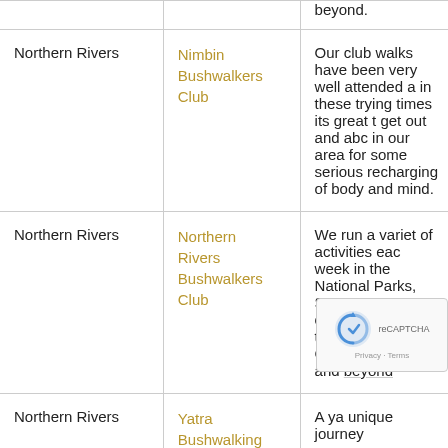| Region | Club | Description |
| --- | --- | --- |
| Northern Rivers | Nimbin Bushwalkers Club | Our club walks have been very well attended a in these trying times its great t get out and abc in our area for some serious recharging of body and mind. |
| Northern Rivers | Northern Rivers Bushwalkers Club | We run a variet of activities eac week in the National Parks, State Forests a coastal areas o the NSW North Coast Region, and beyond |
| Northern Rivers | Yatra Bushwalking | A ya unique journey |